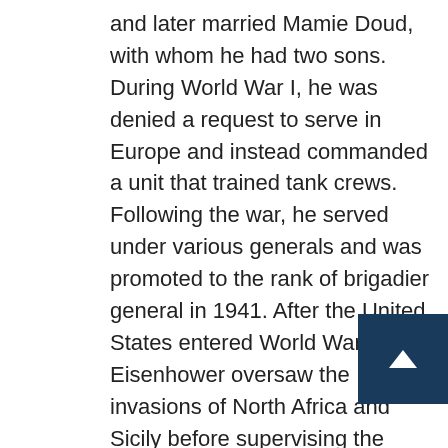and later married Mamie Doud, with whom he had two sons. During World War I, he was denied a request to serve in Europe and instead commanded a unit that trained tank crews. Following the war, he served under various generals and was promoted to the rank of brigadier general in 1941. After the United States entered World War II, Eisenhower oversaw the invasions of North Africa and Sicily before supervising the invasions of France and Germany. After the war, he served as Army Chief of Staff (1945-1948), as president of Columbia University (1948-1953) and as the first Supreme Commander of NATO (1951-1952).
In 1952, Eisenhower entered the presidential race as a Republican to block the isolationist foreign policies of Senator Robert A. Taft; Taft opposed NATO and wanted no foreign entanglements.